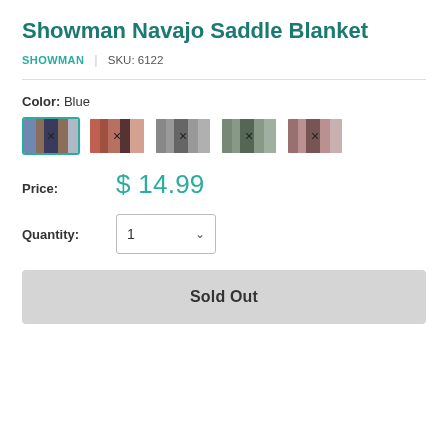Showman Navajo Saddle Blanket
SHOWMAN | SKU: 6122
Color: Blue
[Figure (other): Five color swatch options for saddle blanket: Blue (selected, teal border), Red/Orange, Gray, Green/Gray, Pink/Gray]
Price: $ 14.99
Quantity: 1
Sold Out